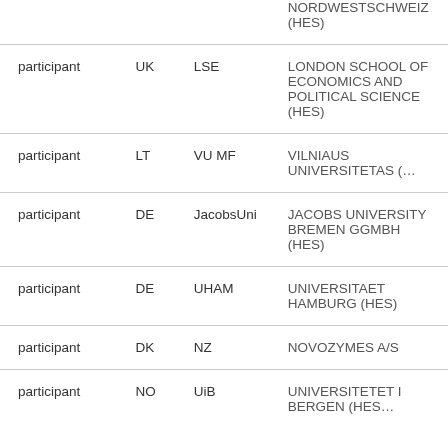| Role | Country | Short name | Full name |
| --- | --- | --- | --- |
|  |  |  | NORDWESTSCHWEIZ (HES) |
| participant | UK | LSE | LONDON SCHOOL OF ECONOMICS AND POLITICAL SCIENCE (HES) |
| participant | LT | VU MF | VILNIAUS UNIVERSITETAS (…) |
| participant | DE | JacobsUni | JACOBS UNIVERSITY BREMEN GGMBH (HES) |
| participant | DE | UHAM | UNIVERSITAET HAMBURG (HES) |
| participant | DK | NZ | NOVOZYMES A/S |
| participant | NO | UiB | UNIVERSITETET I BERGEN (HES) |